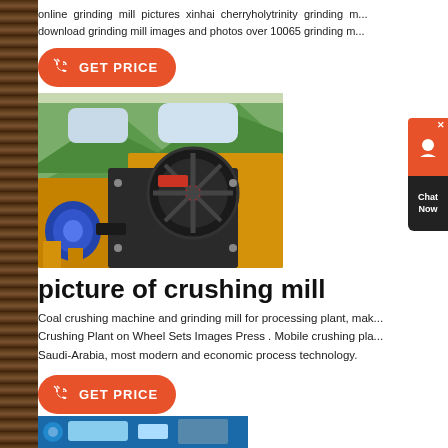online grinding mill pictures xinhai cherryholytrinity grinding m... download grinding mill images and photos over 10065 grinding m...
[Figure (other): Orange GET PRICE button with phone icon]
[Figure (photo): Photo of a crushing mill machine with large flywheel, yellow frame, blue motor, set against a mountainous green background]
picture of crushing mill
Coal crushing machine and grinding mill for processing plant, mak... Crushing Plant on Wheel Sets Images Press . Mobile crushing pla... Saudi-Arabia, most modern and economic process technology.
[Figure (other): Orange GET PRICE button with phone icon]
[Figure (other): Chat Now widget on right side]
[Figure (photo): Bottom strip showing partial image of crushing/grinding equipment]